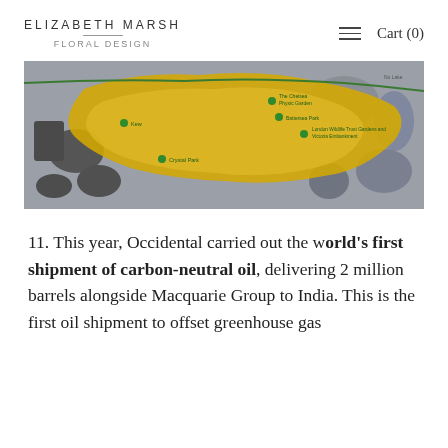ELIZABETH MARSH FLORAL DESIGN | Cart (0)
[Figure (map): Aerial/satellite map of central London with a golden highlighted region showing central parks and landmarks including The Chelsea Physic Garden, Battersea Park, London Wildlife Trust Gardens and Victoria Embankment, Crystal Park, Kew. Gray surroundings and green markers.]
11. This year, Occidental carried out the world's first shipment of carbon-neutral oil, delivering 2 million barrels alongside Macquarie Group to India. This is the first oil shipment to offset greenhouse gas